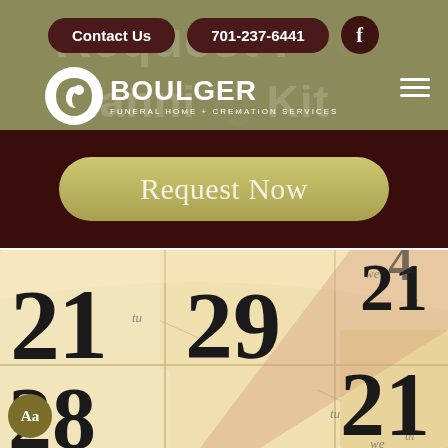Contact Us | 701-237-6441 | Facebook
[Figure (logo): Boulger Funeral Home + Cremation Services logo with circular icon on left]
Request Free Planning Kit (watermark background text)
Request Now
[Figure (photo): Close-up photograph of a spiral-bound calendar showing dates 21, 28, 29 and day abbreviations tu, we, th in sepia/warm tones]
Aa